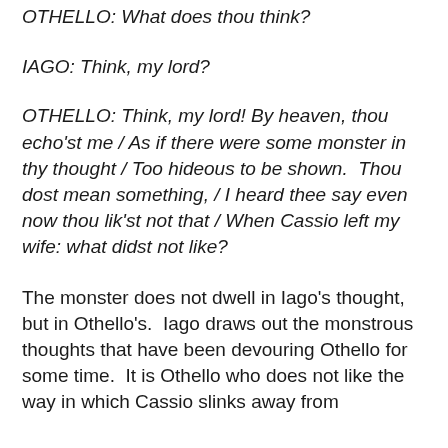OTHELLO: What does thou think?
IAGO: Think, my lord?
OTHELLO: Think, my lord! By heaven, thou echo'st me / As if there were some monster in thy thought / Too hideous to be shown.  Thou dost mean something, / I heard thee say even now thou lik'st not that / When Cassio left my wife: what didst not like?
The monster does not dwell in Iago's thought, but in Othello's.  Iago draws out the monstrous thoughts that have been devouring Othello for some time.  It is Othello who does not like the way in which Cassio slinks away from